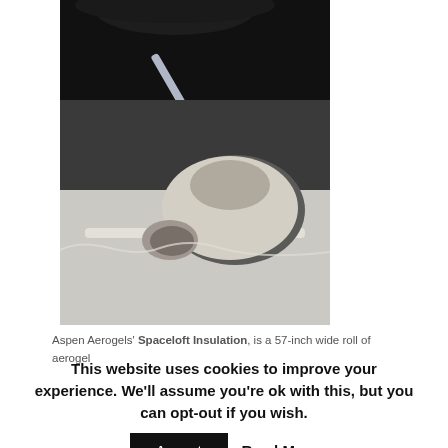[Figure (photo): Two photos of aerogel products: top image shows a glowing light or pen-like object against a dark background; bottom image shows a rolled sheet of white/cream aerogel insulation material unrolled on a surface.]
Aspen Aerogels' Spaceloft Insulation, is a 57-inch wide roll of aerogel
This website uses cookies to improve your experience. We'll assume you're ok with this, but you can opt-out if you wish.